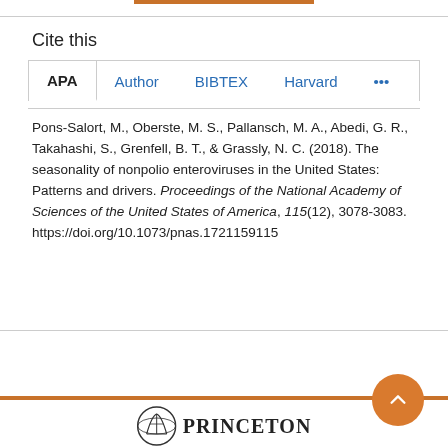Cite this
APA  Author  BIBTEX  Harvard  ...
Pons-Salort, M., Oberste, M. S., Pallansch, M. A., Abedi, G. R., Takahashi, S., Grenfell, B. T., & Grassly, N. C. (2018). The seasonality of nonpolio enteroviruses in the United States: Patterns and drivers. Proceedings of the National Academy of Sciences of the United States of America, 115(12), 3078-3083. https://doi.org/10.1073/pnas.1721159115
PRINCETON